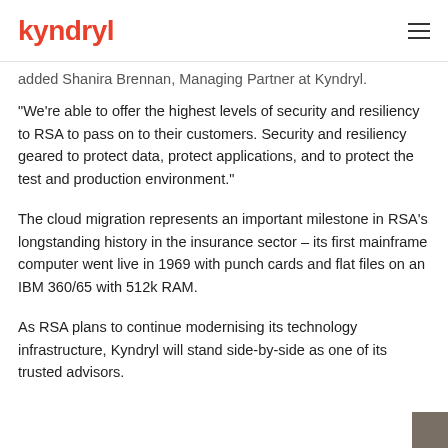kyndryl
added Shanira Brennan, Managing Partner at Kyndryl.
“We’re able to offer the highest levels of security and resiliency to RSA to pass on to their customers. Security and resiliency geared to protect data, protect applications, and to protect the test and production environment.”
The cloud migration represents an important milestone in RSA’s longstanding history in the insurance sector – its first mainframe computer went live in 1969 with punch cards and flat files on an IBM 360/65 with 512k RAM.
As RSA plans to continue modernising its technology infrastructure, Kyndryl will stand side-by-side as one of its trusted advisors.